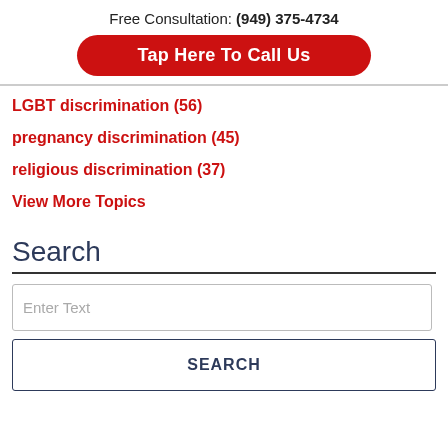Free Consultation: (949) 375-4734
Tap Here To Call Us
LGBT discrimination (56)
pregnancy discrimination (45)
religious discrimination (37)
View More Topics
Search
Enter Text
SEARCH